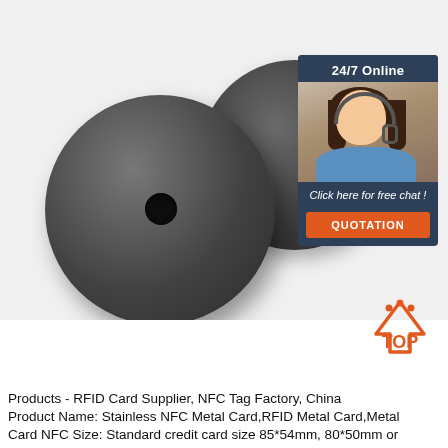[Figure (photo): Two dark circular RFID/NFC disc tags with center holes, photographed on white background. An overlay chat widget shows '24/7 Online', a woman with headset, 'Click here for free chat!' and an orange QUOTATION button.]
[Figure (logo): Orange TOP badge/logo in lower right area]
Products - RFID Card Supplier, NFC Tag Factory, China
Product Name: Stainless NFC Metal Card,RFID Metal Card,Metal Card NFC Size: Standard credit card size 85*54mm, 80*50mm or